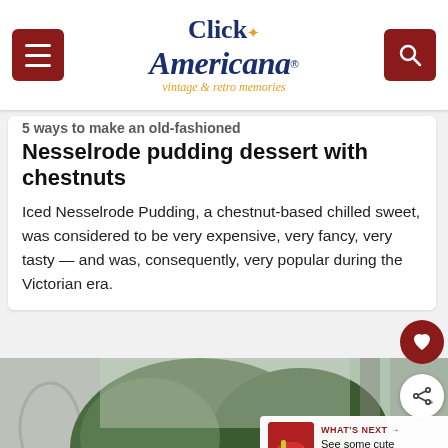Click Americana — vintage & retro memories
5 ways to make an old-fashioned Nesselrode pudding dessert with chestnuts
Iced Nesselrode Pudding, a chestnut-based chilled sweet, was considered to be very expensive, very fancy, very tasty — and was, consequently, very popular during the Victorian era.
[Figure (photo): Vintage photograph showing flowering plants and trees, viewed through a decorative latticed frame or window]
WHAT'S NEXT → See some cute old-fashione...
[Figure (infographic): Ad banner: LET'S KEEP THIS LAND GRAND. with Smokey Bear illustration on sky-blue background]